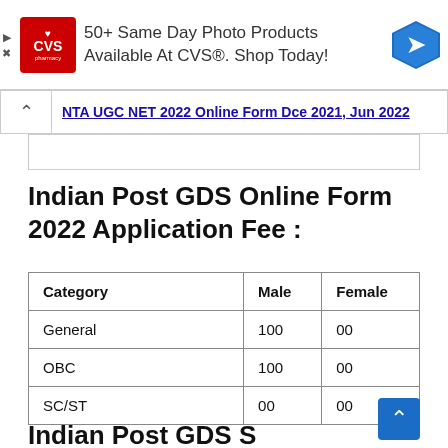[Figure (screenshot): CVS Pharmacy advertisement banner: '50+ Same Day Photo Products Available At CVS®. Shop Today!' with CVS logo and navigation icon]
NTA UGC NET 2022 Online Form Dce 2021, Jun 2022
Indian Post GDS Online Form 2022 Application Fee :
| Category | Male | Female |
| --- | --- | --- |
| General | 100 | 00 |
| OBC | 100 | 00 |
| SC/ST | 00 | 00 |
Indian Post GDS S…